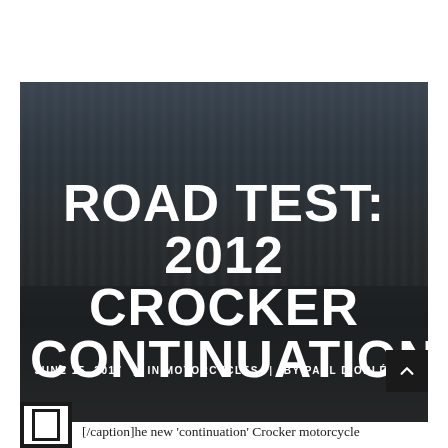[Figure (photo): A man wearing a helmet rides a vintage motorcycle in front of a corrugated metal wall building. The image has a dark overlay with large white text overlaid.]
ROAD TEST: 2012 CROCKER CONTINUATION
JUNE 15, 2017  |  IN MOTORCYCLES  |  BY PAUL D'ORLÉANS
[/caption]he new 'continuation' Crocker motorcycle